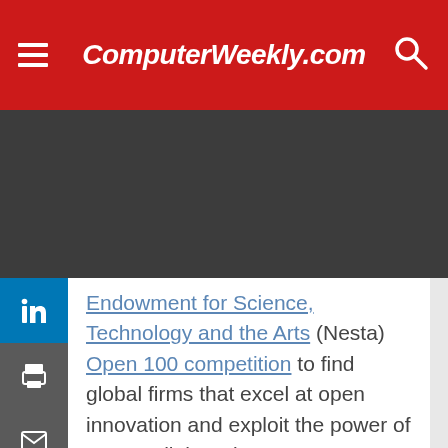ComputerWeekly.com
Endowment for Science, Technology and the Arts (Nesta) Open 100 competition to find global firms that excel at open innovation and exploit the power of mass collaboration.